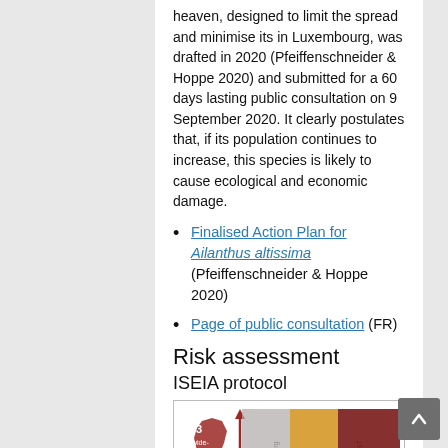heaven, designed to limit the spread and minimise its in Luxembourg, was drafted in 2020 (Pfeiffenschneider & Hoppe 2020) and submitted for a 60 days lasting public consultation on 9 September 2020. It clearly postulates that, if its population continues to increase, this species is likely to cause ecological and economic damage.
Finalised Action Plan for Ailanthus altissima (Pfeiffenschneider & Hoppe 2020)
Page of public consultation (FR)
Risk assessment
ISEIA protocol
[Figure (infographic): ISEIA protocol risk assessment diagram showing a grid with columns C3, B3 (Watch List), A3 (Black List) and a map of Luxembourg with spread level 3 marked, rows shown for levels 3 and 2, with a red upward arrow on the y-axis.]